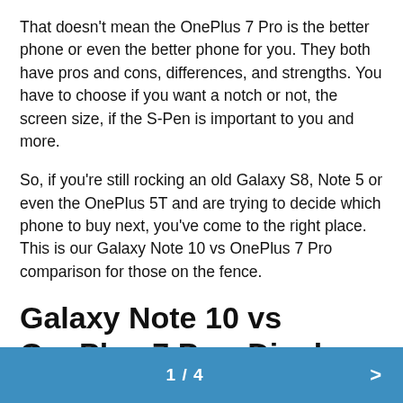That doesn't mean the OnePlus 7 Pro is the better phone or even the better phone for you. They both have pros and cons, differences, and strengths. You have to choose if you want a notch or not, the screen size, if the S-Pen is important to you and more.
So, if you're still rocking an old Galaxy S8, Note 5 or even the OnePlus 5T and are trying to decide which phone to buy next, you've come to the right place. This is our Galaxy Note 10 vs OnePlus 7 Pro comparison for those on the fence.
Galaxy Note 10 vs OnePlus 7 Pro: Display & Design
1 / 4  >